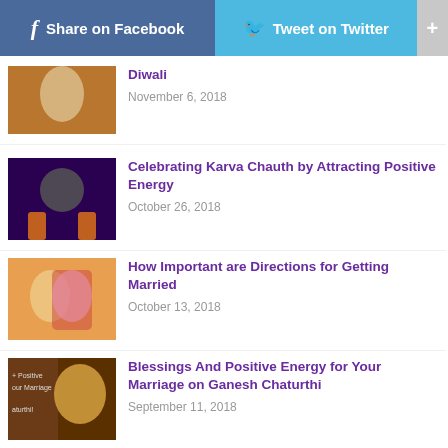Share on Facebook  Tweet on Twitter  +
Diwali
November 6, 2018
Celebrating Karva Chauth by Attracting Positive Energy
October 26, 2018
How Important are Directions for Getting Married
October 13, 2018
Blessings And Positive Energy for Your Marriage on Ganesh Chaturthi
September 11, 2018
8 Amazing Indian Wedding Music
May 29, 2018